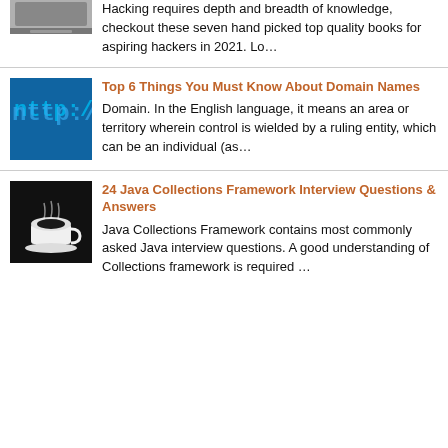[Figure (photo): Partial laptop/keyboard image at top]
Hacking requires depth and breadth of knowledge, checkout these seven hand picked top quality books for aspiring hackers in 2021. Lo…
[Figure (photo): Blue background with 'http://' text displayed on screen]
Top 6 Things You Must Know About Domain Names
Domain. In the English language, it means an area or territory wherein control is wielded by a ruling entity, which can be an individual (as…
[Figure (photo): Black and white photo of coffee cup with steam]
24 Java Collections Framework Interview Questions & Answers
Java Collections Framework contains most commonly asked Java interview questions. A good understanding of Collections framework is required …